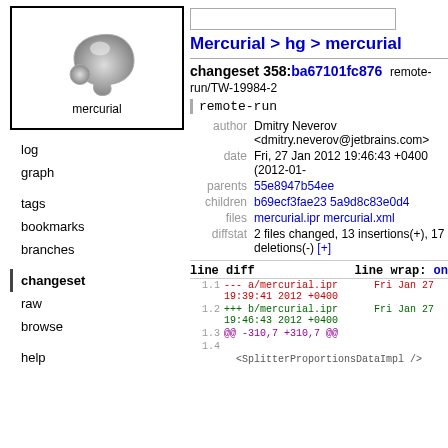[Figure (logo): Mercurial logo: stylized comma/apostrophe graphic in gray, with text 'mercurial' below, inside a black-bordered box]
log
graph
tags
bookmarks
branches
changeset
raw
browse
help
Mercurial > hg > mercurial
changeset 358:ba67101fc876  remote-run/TW-19984-2
remote-run
| field | value |
| --- | --- |
| author | Dmitry Neverov <dmitry.neverov@jetbrains.com> |
| date | Fri, 27 Jan 2012 19:46:43 +0400 (2012-01- |
| parents | 55e8947b54ee |
| children | b69ecf3fae23 5a9d8c83e0d4 |
| files | mercurial.ipr mercurial.xml |
| diffstat | 2 files changed, 13 insertions(+), 17 deletions(-) [+] |
line diff    line wrap: on
1.1  --- a/mercurial.ipr    Fri Jan 27 19:39:41 2012 +0400
1.2  +++ b/mercurial.ipr    Fri Jan 27 19:46:43 2012 +0400
1.3  @@ -310,7 +310,7 @@
1.4
     <SplitterProportionsDataImpl />